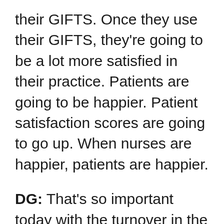their GIFTS. Once they use their GIFTS, they're going to be a lot more satisfied in their practice. Patients are going to be happier. Patient satisfaction scores are going to go up. When nurses are happier, patients are happier.
DG: That's so important today with the turnover in the industry. We want our nurses happy, right?
LB: Exactly. I empower nurses through my GIFTS system. I also show them how easy it is to create a culture of empowerment. Where nurses feel like they have a voice, where they have